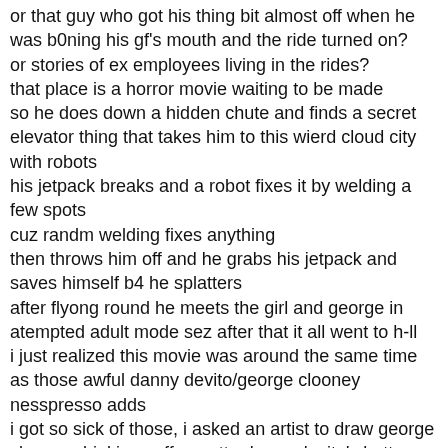or that guy who got his thing bit almost off when he was b0ning his gf's mouth and the ride turned on?
or stories of ex employees living in the rides?
that place is a horror movie waiting to be made
so he does down a hidden chute and finds a secret elevator thing that takes him to this wierd cloud city with robots
his jetpack breaks and a robot fixes it by welding a few spots
cuz randm welding fixes anything
then throws him off and he grabs his jetpack and saves himself b4 he splatters
after flyong round he meets the girl and george in atempted adult mode sez after that it all went to h-ll
i just realized this movie was around the same time as those awful danny devito/george clooney nesspresso adds
i got so sick of those, i asked an artist to draw george clooney drinking coffee outta danny devito's butt
then we see directors childhood wanting to go to the stars
thats how alien started
then at a nasa launch platform, girl sneaks in and uses a phone owned drone to avert the guards
aftertampering with it, she leaves and goes home
her bro talks to her abiut how she thinks the smallest actions